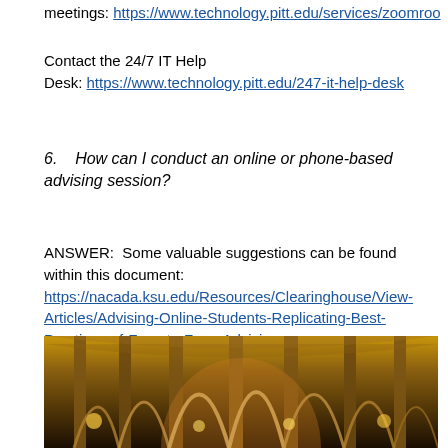meetings: https://www.technology.pitt.edu/services/zoomroo
Contact the 24/7 IT Help Desk: https://www.technology.pitt.edu/247-it-help-desk
6.    How can I conduct an online or phone-based advising session?
ANSWER:  Some valuable suggestions can be found within this document: https://nacada.ksu.edu/Resources/Clearinghouse/View-Articles/Advising-Online-Students-Replicating-Best-Practices-of-Face-to-Face-Advising.aspx
[Figure (photo): Interior photograph of a gothic cathedral with large arched columns and warm amber lighting]